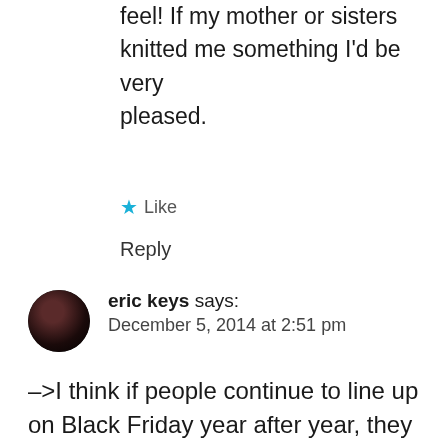feel! If my mother or sisters knitted me something I'd be very pleased.
Like
Reply
eric keys says:
December 5, 2014 at 2:51 pm
–>I think if people continue to line up on Black Friday year after year, they must get some kick out of the near-death experience and warfare.
I think this is related to what I alluded to in my last – rather lenthy – comment on